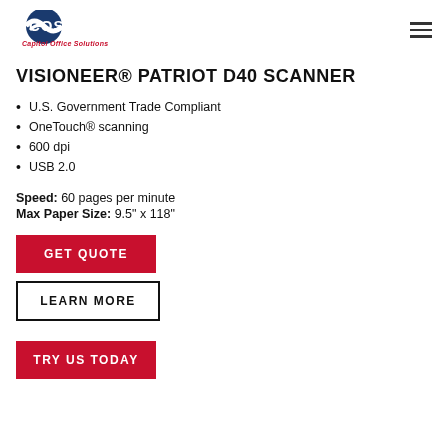[Figure (logo): Capitol Office Solutions (COS) logo with blue globe graphic and red text]
VISIONEER® PATRIOT D40 SCANNER
U.S. Government Trade Compliant
OneTouch® scanning
600 dpi
USB 2.0
Speed: 60 pages per minute
Max Paper Size: 9.5" x 118"
GET QUOTE
LEARN MORE
TRY US TODAY